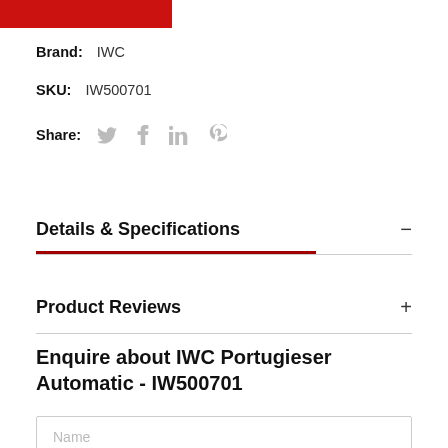[Figure (other): Red button/banner at top left corner]
Brand:  IWC
SKU:  IW500701
Share:  [twitter] [facebook] [linkedin] [pinterest]
Details & Specifications
Product Reviews
Enquire about IWC Portugieser Automatic - IW500701
Name